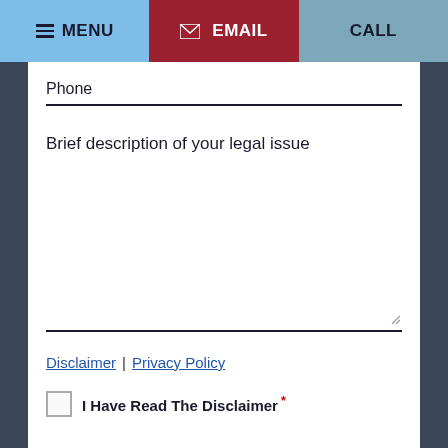MENU | EMAIL | CALL
Phone
Brief description of your legal issue
Disclaimer | Privacy Policy
I Have Read The Disclaimer *